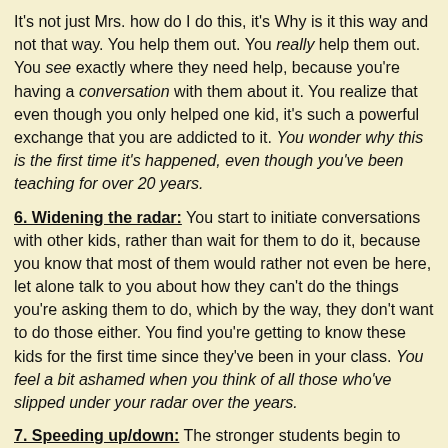It's not just Mrs. how do I do this, it's Why is it this way and not that way. You help them out. You really help them out. You see exactly where they need help, because you're having a conversation with them about it. You realize that even though you only helped one kid, it's such a powerful exchange that you are addicted to it. You wonder why this is the first time it's happened, even though you've been teaching for over 20 years.
6. Widening the radar: You start to initiate conversations with other kids, rather than wait for them to do it, because you know that most of them would rather not even be here, let alone talk to you about how they can't do the things you're asking them to do, which by the way, they don't want to do those either. You find you're getting to know these kids for the first time since they've been in your class. You feel a bit ashamed when you think of all those who've slipped under your radar over the years.
7. Speeding up/down: The stronger students begin to move ahead and ask for the next lesson before it's ready. You are like a deer in the headlights. Ummmm....do you have any